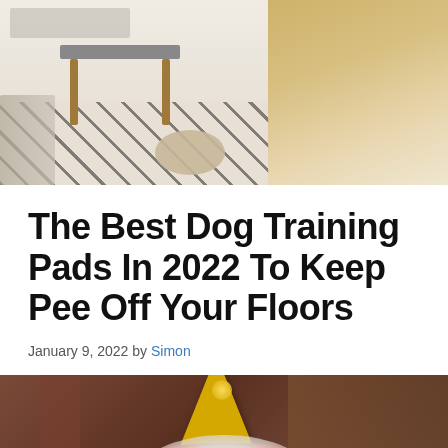[Figure (photo): Interior room scene with a patterned rug, small side table, round pouf, and a golden retriever dog sitting in the background]
The Best Dog Training Pads In 2022 To Keep Pee Off Your Floors
January 9, 2022 by Simon
[Figure (photo): White dog wearing a gold party hat sitting in front of a dark wooden door and furniture]